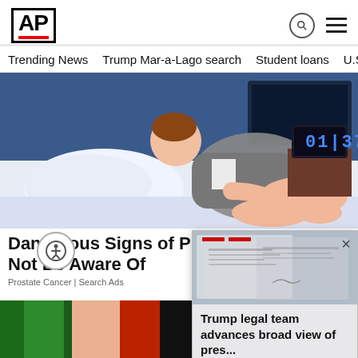AP
Trending News
Trump Mar-a-Lago search
Student loans
U.S.
[Figure (illustration): Illustration of a man lying awake in bed at night, with a digital clock showing 01:37 on the nightstand, blue bedroom background.]
Dangerous Signs of Prostate M[ust] Not Be Aware Of
Prostate Cancer | Search Ads
[Figure (photo): Partially visible photo of a person with green and red hair at the bottom of the page.]
[Figure (screenshot): Popup overlay showing blurred document images with red lines at top and close X button, with text: Trump legal team advances broad view of pres...]